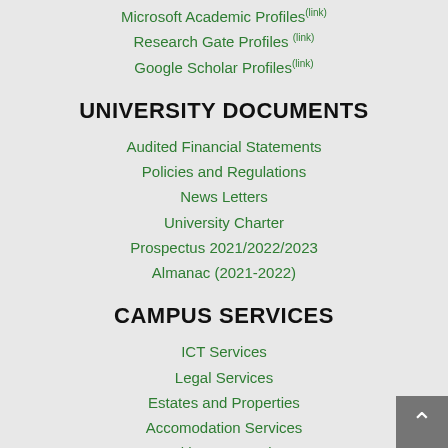Microsoft Academic Profiles (link)
Research Gate Profiles (link)
Google Scholar Profiles (link)
UNIVERSITY DOCUMENTS
Audited Financial Statements
Policies and Regulations
News Letters
University Charter
Prospectus 2021/2022/2023
Almanac (2021-2022)
CAMPUS SERVICES
ICT Services
Legal Services
Estates and Properties
Accomodation Services
Health Care Services
Security Services (Auxilliary Police)